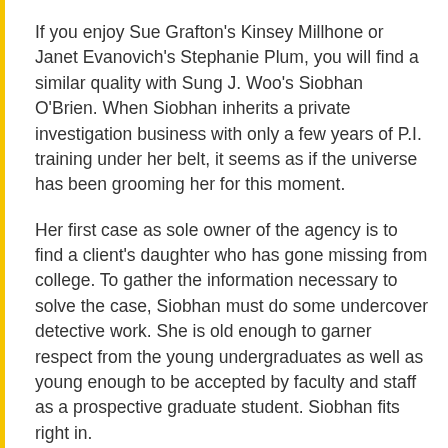If you enjoy Sue Grafton's Kinsey Millhone or Janet Evanovich's Stephanie Plum, you will find a similar quality with Sung J. Woo's Siobhan O'Brien. When Siobhan inherits a private investigation business with only a few years of P.I. training under her belt, it seems as if the universe has been grooming her for this moment.
Her first case as sole owner of the agency is to find a client's daughter who has gone missing from college. To gather the information necessary to solve the case, Siobhan must do some undercover detective work. She is old enough to garner respect from the young undergraduates as well as young enough to be accepted by faculty and staff as a prospective graduate student. Siobhan fits right in.
To make things lively, the author tosses in an ex-fashion model, a billionaire, transcendental meditation, security